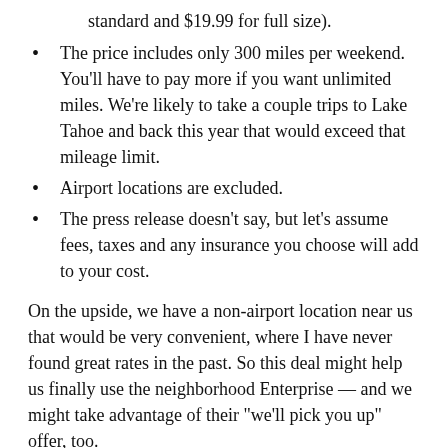standard and $19.99 for full size).
The price includes only 300 miles per weekend. You’ll have to pay more if you want unlimited miles. We’re likely to take a couple trips to Lake Tahoe and back this year that would exceed that mileage limit.
Airport locations are excluded.
The press release doesn’t say, but let’s assume fees, taxes and any insurance you choose will add to your cost.
On the upside, we have a non-airport location near us that would be very convenient, where I have never found great rates in the past. So this deal might help us finally use the neighborhood Enterprise — and we might take advantage of their “we’ll pick you up” offer, too.
I like this paragraph from the company press release: